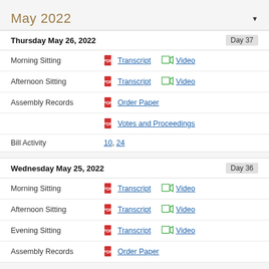May 2022
Thursday May 26, 2022 — Day 37
Morning Sitting — Transcript, Video
Afternoon Sitting — Transcript, Video
Assembly Records — Order Paper
Votes and Proceedings
Bill Activity — 10, 24
Wednesday May 25, 2022 — Day 36
Morning Sitting — Transcript, Video
Afternoon Sitting — Transcript, Video
Evening Sitting — Transcript, Video
Assembly Records — Order Paper